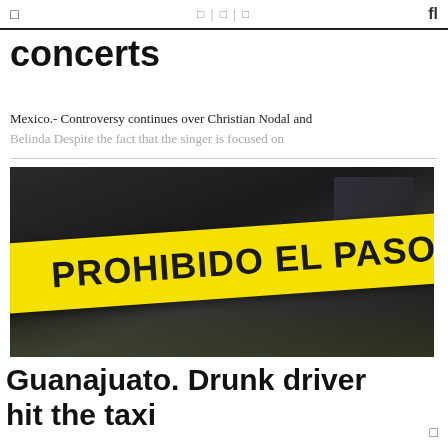□  □ | □ | □  fl
concerts
Mexico.- Controversy continues over Christian Nodal and Belinda Despite the fact that the singer is focused on
[Figure (photo): Yellow crime scene tape reading 'PROHIBIDO EL PASO' strung across a dark area, likely a crime scene in Mexico.]
Guanajuato. Drunk driver hit the taxi